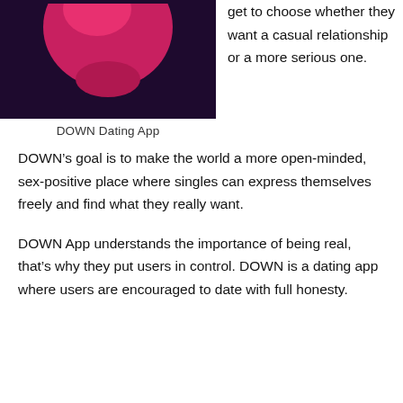[Figure (illustration): DOWN Dating App logo/splash image: dark purple/maroon background with a pink-red teardrop or heart shape at center-top, cropped at top.]
DOWN Dating App
get to choose whether they want a casual relationship or a more serious one.
DOWN's goal is to make the world a more open-minded, sex-positive place where singles can express themselves freely and find what they really want.
DOWN App understands the importance of being real, that's why they put users in control. DOWN is a dating app where users are encouraged to date with full honesty.